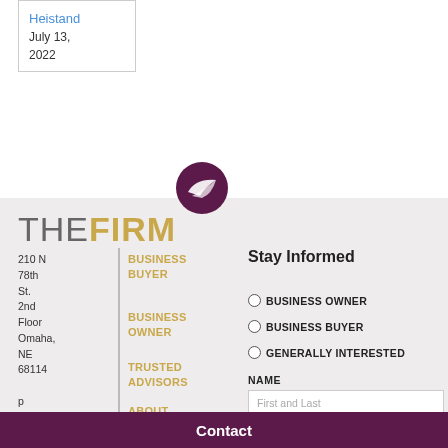Heistand
July 13, 2022
[Figure (logo): THE FIRM logo with circular purple bird icon above. THE in grey light weight, FIRM in gold/tan bold weight.]
BUSINESS BUYER
BUSINESS OWNER
TRUSTED ADVISORS
ABOUT US
CONTACT US
210 N 78th St. 2nd Floor Omaha, NE 68114
p 402.998.5288
Stay Informed
BUSINESS OWNER
BUSINESS BUYER
GENERALLY INTERESTED
NAME
First and Last
Contact